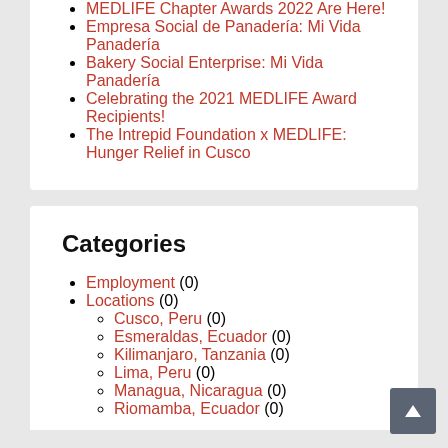MEDLIFE Chapter Awards 2022 Are Here!
Empresa Social de Panadería: Mi Vida Panadería
Bakery Social Enterprise: Mi Vida Panadería
Celebrating the 2021 MEDLIFE Award Recipients!
The Intrepid Foundation x MEDLIFE: Hunger Relief in Cusco
Categories
Employment (0)
Locations (0)
Cusco, Peru (0)
Esmeraldas, Ecuador (0)
Kilimanjaro, Tanzania (0)
Lima, Peru (0)
Managua, Nicaragua (0)
Riomamba, Ecuador (0)